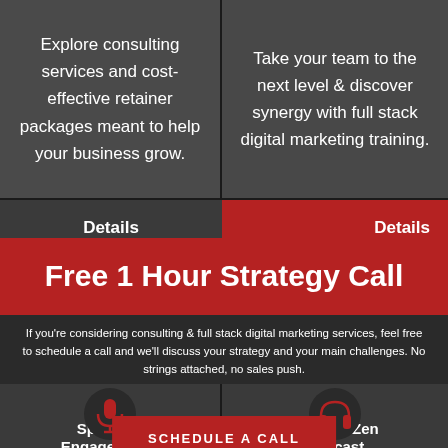Explore consulting services and cost-effective retainer packages meant to help your business grow.
Take your team to the next level & discover synergy with full stack digital marketing training.
Details
Details
Free 1 Hour Strategy Call
If you're considering consulting & full stack digital marketing services, feel free to schedule a call and we'll discuss your strategy and your main challenges. No strings attached, no sales push.
Speaking Engagements
KommerZen Podcast
SCHEDULE A CALL